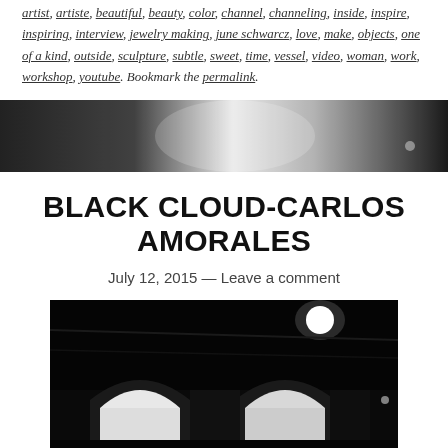artist, artiste, beautiful, beauty, color, channel, channeling, inside, inspire, inspiring, interview, jewelry making, june schwarcz, love, make, objects, one of a kind, outside, sculpture, subtle, sweet, time, vessel, video, woman, work, workshop, youtube. Bookmark the permalink.
[Figure (photo): Horizontal banner image with dark gradient on left fading to bright white/silver in center, dark again on right — likely a decorative header image for a blog.]
BLACK CLOUD-CARLOS AMORALES
July 12, 2015 — Leave a comment
[Figure (photo): Dark nighttime interior photograph of a large space, possibly a gallery or warehouse. Bright lights illuminate arched doorways or passages. Very dark, atmospheric black tones dominate.]